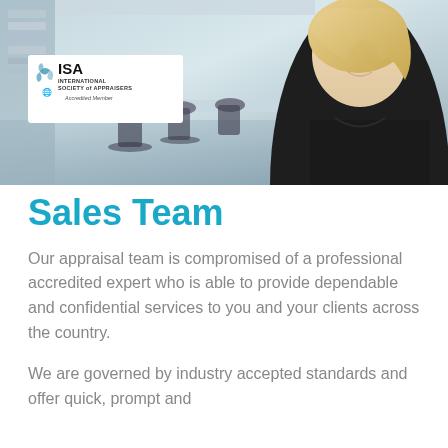[Figure (photo): Banner photo showing an office interior with modern furniture and chairs, and a smiling blonde woman in a dark top on the right side. An ISA International Society of Appraisers Accredited Member logo is overlaid on the left side of the image.]
Sales Team
Our appraisal team is compromised of a professional accredited expert who is able to provide dependable and confidential services to you and your clients across the country.
We are governed by industry accepted standards and offer quick, prompt and